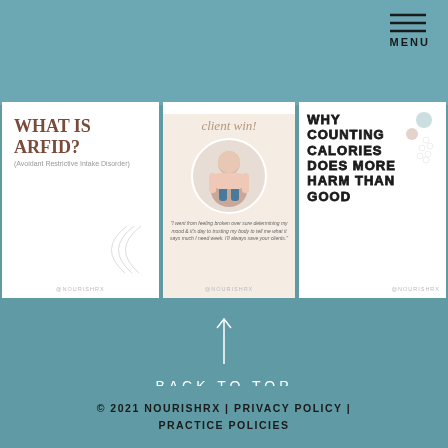[Figure (screenshot): Website header with teal background and hamburger menu icon labeled MENU in top right]
[Figure (screenshot): Three social media card thumbnails: 1) White card with 'WHAT IS ARFID? (Avoidant Restrictive Intake Disorder)'; 2) Beige 'client win!' card with photo of woman and quote; 3) White card with bold text 'WHY COUNTING CALORIES DOES MORE HARM THAN GOOD']
BACK TO TOP
© 2021 NOURISHRX | PRIVACY POLICY | PRACTICE POLICIES